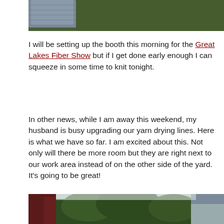[Figure (photo): Partial top photo showing knitted fabric on green grass, cropped at top of page]
I will be setting up the booth this morning for the Great Lakes Fiber Show but if I get done early enough I can squeeze in some time to knit tonight.
In other news, while I am away this weekend, my husband is busy upgrading our yarn drying lines. Here is what we have so far. I am excited about this. Not only will there be more room but they are right next to our work area instead of on the other side of the yard. It’s going to be great!
[Figure (photo): Outdoor photo showing trees, sky, and side of a house/building, partially cropped at bottom of page]